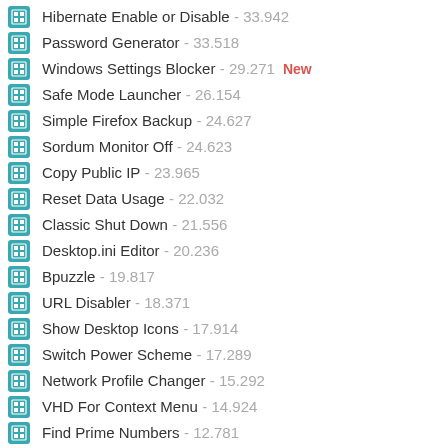Hibernate Enable or Disable - 33.942
Password Generator - 33.518
Windows Settings Blocker - 29.271  New
Safe Mode Launcher - 26.154
Simple Firefox Backup - 24.627
Sordum Monitor Off - 24.623
Copy Public IP - 23.965
Reset Data Usage - 22.032
Classic Shut Down - 21.556
Desktop.ini Editor - 20.236
Bpuzzle - 19.817
URL Disabler - 18.371
Show Desktop Icons - 17.914
Switch Power Scheme - 17.289
Network Profile Changer - 15.292
VHD For Context Menu - 14.924
Find Prime Numbers - 12.781
Streams Remover - 11.479
Send Windows Key - 7.939